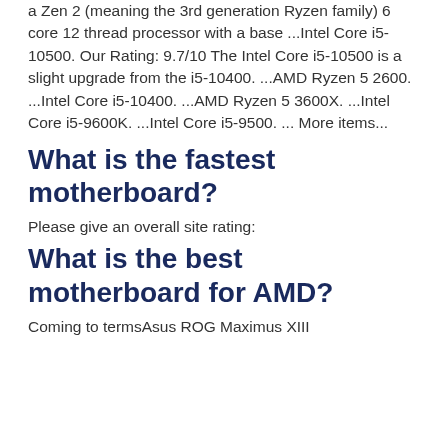a Zen 2 (meaning the 3rd generation Ryzen family) 6 core 12 thread processor with a base ...Intel Core i5-10500. Our Rating: 9.7/10 The Intel Core i5-10500 is a slight upgrade from the i5-10400. ...AMD Ryzen 5 2600. ...Intel Core i5-10400. ...AMD Ryzen 5 3600X. ...Intel Core i5-9600K. ...Intel Core i5-9500. ... More items...
What is the fastest motherboard?
Please give an overall site rating:
What is the best motherboard for AMD?
Coming to termsAsus ROG Maximus XIII